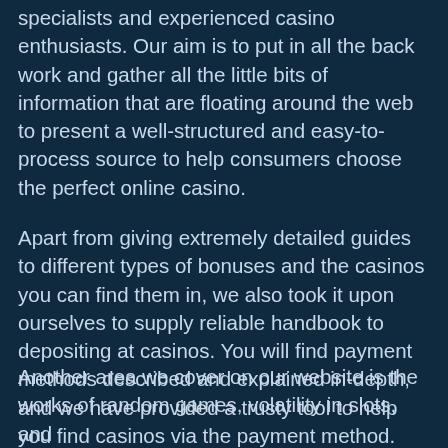specialists and experienced casino enthusiasts. Our aim is to put in all the back work and gather all the little bits of information that are floating around the web to present a well-structured and easy-to-process source to help consumers choose the perfect online casino.
Apart from giving extremely detailed guides to different types of bonuses and the casinos you can find them in, we also took it upon ourselves to supply reliable handbook to depositing at casinos. You will find payment methods described and explained in-depth, and we have provided a trusty tool to help you find casinos via the payment method.
Another area we cover on our website is the works of random games, volatility in slots, and